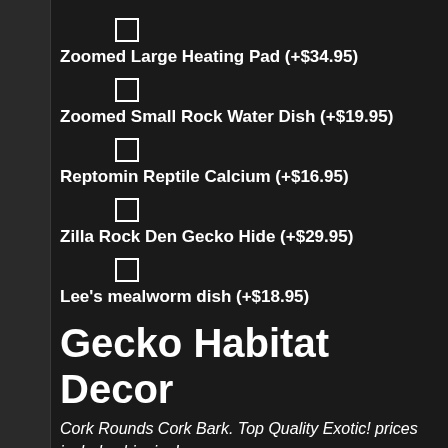Zoomed Large Heating Pad (+$34.95)
Zoomed Small Rock Water Dish (+$19.95)
Reptomin Reptile Calcium (+$16.95)
Zilla Rock Den Gecko Hide (+$29.95)
Lee's mealworm dish (+$18.95)
Gecko Habitat Decor
Cork Rounds Cork Bark. Top Quality Exotic! prices include shipping!
None